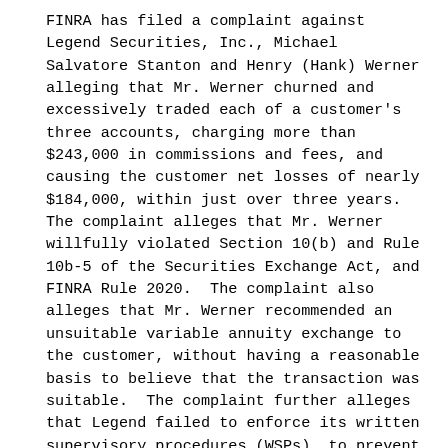FINRA has filed a complaint against Legend Securities, Inc., Michael Salvatore Stanton and Henry (Hank) Werner alleging that Mr. Werner churned and excessively traded each of a customer's three accounts, charging more than $243,000 in commissions and fees, and causing the customer net losses of nearly $184,000, within just over three years. The complaint alleges that Mr. Werner willfully violated Section 10(b) and Rule 10b-5 of the Securities Exchange Act, and FINRA Rule 2020.  The complaint also alleges that Mr. Werner recommended an unsuitable variable annuity exchange to the customer, without having a reasonable basis to believe that the transaction was suitable.  The complaint further alleges that Legend failed to enforce its written supervisory procedures (WSPs), to prevent Mr. Werner from churning and excessively trading the customer's brokerage accounts. Legend and Mr. Stanton failed to adequately investigate red flags